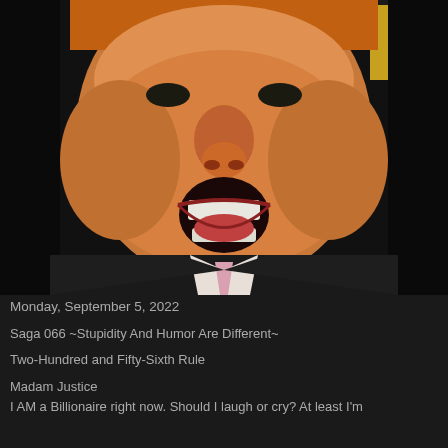[Figure (photo): Close-up photograph of a man with orange-tinted hair and an open mouth, wearing a dark suit and light pink tie, against a dark background with what appears to be a flag in the upper right corner.]
Monday, September 5, 2022
Saga 066 ~Stupidity And Humor Are Different~
Two-Hundred and Fifty-Sixth Rule
Madam Justice
I AM a Billionaire right now. Should I laugh or cry? At least I'm